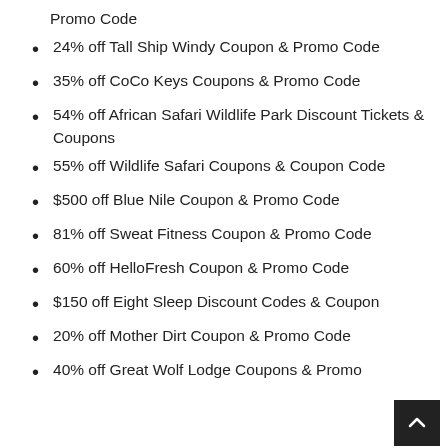Promo Code
24% off Tall Ship Windy Coupon & Promo Code
35% off CoCo Keys Coupons & Promo Code
54% off African Safari Wildlife Park Discount Tickets & Coupons
55% off Wildlife Safari Coupons & Coupon Code
$500 off Blue Nile Coupon & Promo Code
81% off Sweat Fitness Coupon & Promo Code
60% off HelloFresh Coupon & Promo Code
$150 off Eight Sleep Discount Codes & Coupon
20% off Mother Dirt Coupon & Promo Code
40% off Great Wolf Lodge Coupons & Promo